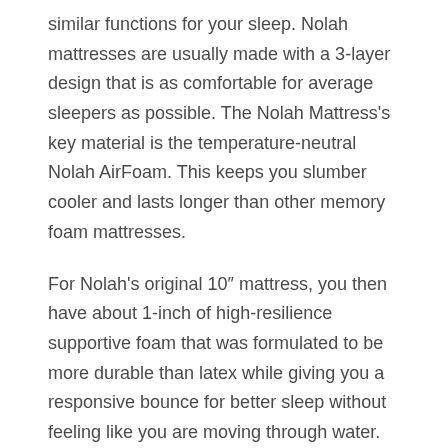similar functions for your sleep. Nolah mattresses are usually made with a 3-layer design that is as comfortable for average sleepers as possible. The Nolah Mattress's key material is the temperature-neutral Nolah AirFoam. This keeps you slumber cooler and lasts longer than other memory foam mattresses.
For Nolah's original 10" mattress, you then have about 1-inch of high-resilience supportive foam that was formulated to be more durable than latex while giving you a responsive bounce for better sleep without feeling like you are moving through water.
Nolah's high density base foam is the foundation layer of the mattress. This helps to reinforce the whole bed and allows the top layers of the mattress to contour around your body. It is essential for any mattress to be long-lasting. Nolah uses the finest designs and manufacturing techniques in the U.S. to ensure this.
All this is then wrapped in a sustainable cover known as “Origin